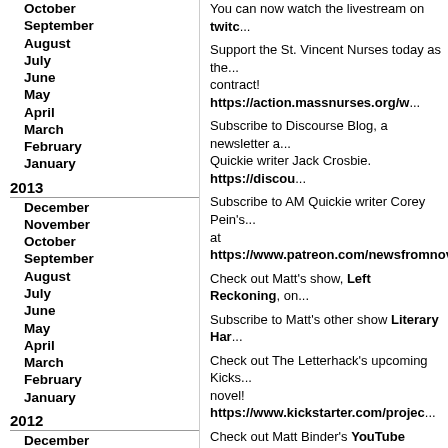October
September
August
July
June
May
April
March
February
January
2013
December
November
October
September
August
July
June
May
April
March
February
January
2012
December
November
October
September
August
July
You can now watch the livestream on twitch.
Support the St. Vincent Nurses today as they fight for a fair contract! https://action.massnurses.org/w...
Subscribe to Discourse Blog, a newsletter and podcast by AM Quickie writer Jack Crosbie. https://discou...
Subscribe to AM Quickie writer Corey Pein's newsletter at https://www.patreon.com/newsfromnow...
Check out Matt's show, Left Reckoning, on...
Subscribe to Matt's other show Literary Har...
Check out The Letterhack's upcoming Kicks... novel! https://www.kickstarter.com/projec...
Check out Matt Binder's YouTube channel!
Subscribe to Brandon's show The Discours...
Check out The Nomiki Show live at 3 pm ET...
Check out Jamie's podcast, The Antifada, at twitch.tv/theantifada (streaming every M...
Follow the Majority Report crew on Twitter:
@SamSeder
@EmmaVigeland
@MattBinder
@MattLech
@BF1nn